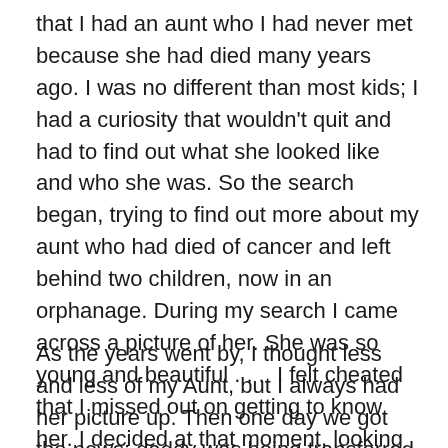that I had an aunt who I had never met because she had died many years ago. I was no different than most kids; I had a curiosity that wouldn't quit and had to find out what she looked like and who she was. So the search began, trying to find out more about my aunt who had died of cancer and left behind two children, now in an orphanage. During my search I came across a picture of her. She was so young and beautiful . . .  I felt cheated that I missed out on getting to know her. I decided at that moment, looking into her face, that I wanted to keep her picture and put it up in my room.
As the years went by, I thought less and less of my Aunt, but I always had her picture up. Then one day we got the news: daddy was being transferred to the United States, we were moving. Everything was packed up, all the